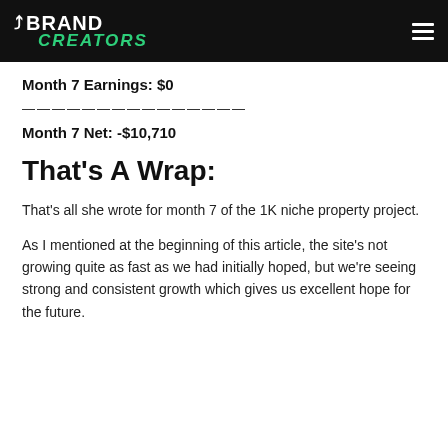BRAND CREATORS
Month 7 Earnings: $0
———————————————
Month 7 Net: -$10,710
That's A Wrap:
That's all she wrote for month 7 of the 1K niche property project.
As I mentioned at the beginning of this article, the site's not growing quite as fast as we had initially hoped, but we're seeing strong and consistent growth which gives us excellent hope for the future.